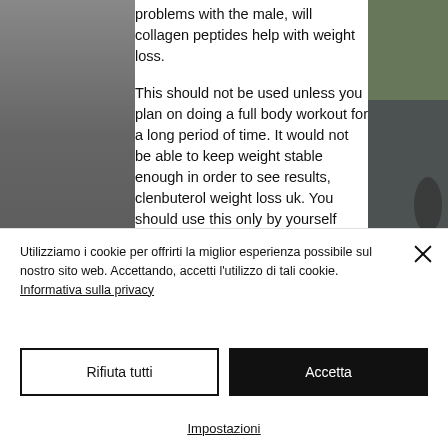[Figure (photo): Website article page with a photo background on left and right sides showing a grey car/vehicle area and greenery, with article text in the center column]
problems with the male, will collagen peptides help with weight loss.
This should not be used unless you plan on doing a full body workout for a long period of time. It would not be able to keep weight stable enough in order to see results, clenbuterol weight loss uk. You should use this only by yourself where you have enough motivation not to be ashamed of the fact that your body has lost most of it's muscle mass. However, it
Utilizziamo i cookie per offrirti la miglior esperienza possibile sul nostro sito web. Accettando, accetti l'utilizzo di tali cookie. Informativa sulla privacy
Rifiuta tutti
Accetta
Impostazioni